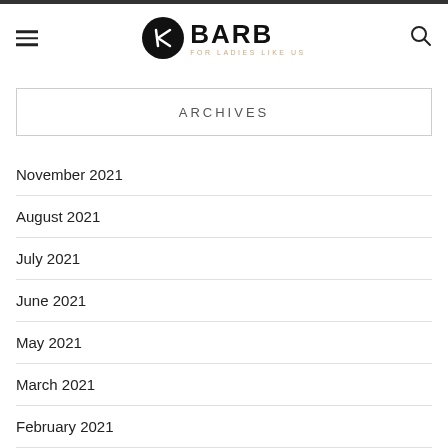BARB — FOR LADIES LIKE US
ARCHIVES
November 2021
August 2021
July 2021
June 2021
May 2021
March 2021
February 2021